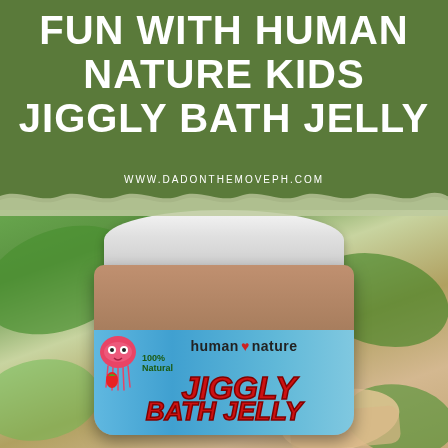FUN WITH HUMAN NATURE KIDS JIGGLY BATH JELLY
WWW.DADONTHEMOVEPH.COM
[Figure (photo): A hand holding a jar of Human Nature 100% Natural Kids Jiggly Bath Jelly product, with a white lid and colorful blue label featuring a jellyfish cartoon character, strawberry, and large red stylized text reading JIGGLY BATH JELLY. Green leafy background visible.]